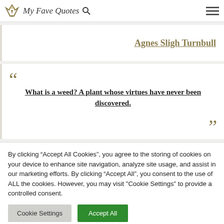My Fave Quotes
Agnes Sligh Turnbull
What is a weed? A plant whose virtues have never been discovered.
By clicking “Accept All Cookies”, you agree to the storing of cookies on your device to enhance site navigation, analyze site usage, and assist in our marketing efforts. By clicking “Accept All”, you consent to the use of ALL the cookies. However, you may visit "Cookie Settings" to provide a controlled consent.